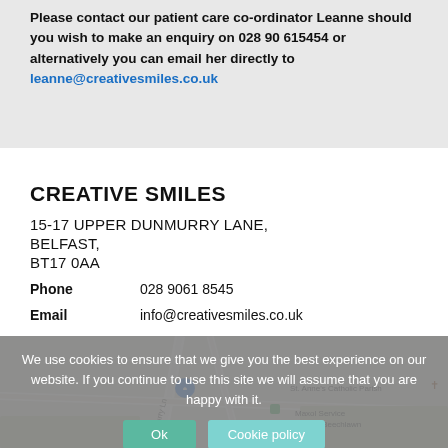Please contact our patient care co-ordinator Leanne should you wish to make an enquiry on 028 90 615454 or alternatively you can email her directly to leanne@creativesmiles.co.uk
CREATIVE SMILES
15-17 UPPER DUNMURRY LANE,
BELFAST,
BT17 0AA
Phone: 028 9061 8545
Email: info@creativesmiles.co.uk
We use cookies to ensure that we give you the best experience on our website. If you continue to use this site we will assume that you are happy with it.
[Figure (map): Google Maps showing area around Upper Dunmurry Lane, Belfast, with location pin. Nearby labels include Dunmurry Ln, St. Anne's Catholic Parish, Maxol Service Station Beechlawn.]